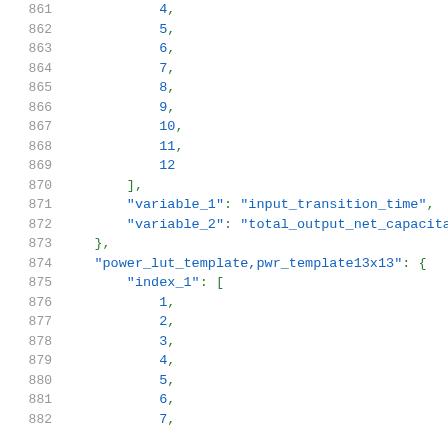Code listing lines 861-882 showing JSON structure with index arrays and variable definitions for power_lut_template
861: 4,
862: 5,
863: 6,
864: 7,
865: 8,
866: 9,
867: 10,
868: 11,
869: 12
870: ],
871: "variable_1": "input_transition_time",
872: "variable_2": "total_output_net_capacitance
873: },
874: "power_lut_template,pwr_template13x13": {
875: "index_1": [
876: 1,
877: 2,
878: 3,
879: 4,
880: 5,
881: 6,
882: 7,